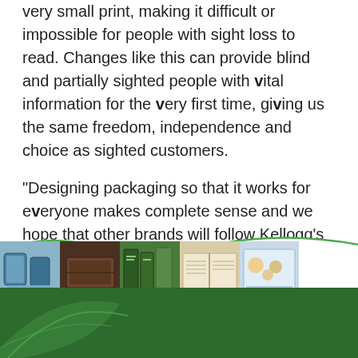very small print, making it difficult or impossible for people with sight loss to read. Changes like this can provide blind and partially sighted people with vital information for the very first time, giving us the same freedom, independence and choice as sighted customers.
“Designing packaging so that it works for everyone makes complete sense and we hope that other brands will follow Kellogg’s lead in making packaging information more accessible.”
[Figure (photo): Bottom decorative strip with wave divider, strip of photos (packaging, books, food products), and green background with leaf illustration at bottom.]